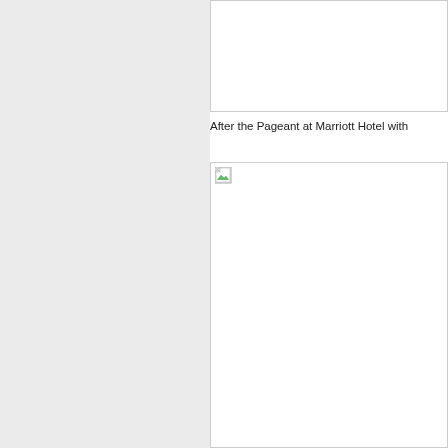[Figure (photo): Top image placeholder, content not visible]
After the Pageant at Marriott Hotel with
[Figure (photo): Bottom image placeholder with broken image icon, content not visible]